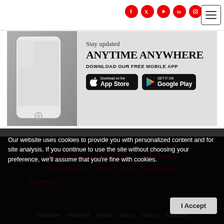Social icons and menu button
[Figure (screenshot): Mobile app promotional banner with phone image, text 'Stay updated ANYTIME ANYWHERE DOWNLOAD OUR FREE MOBILE APP' and App Store / Google Play download buttons]
Our website uses cookies to provide you with personalized content and for site analysis. If you continue to use the site without choosing your preference, we'll assume that you're fine with cookies.
Regional  International  Fashion  Food Service
Food & Grocery  Beauty  Home  Entertainment
Electronics
Magazine  Media Kit  Events  Blogs  Videos  Podcasts